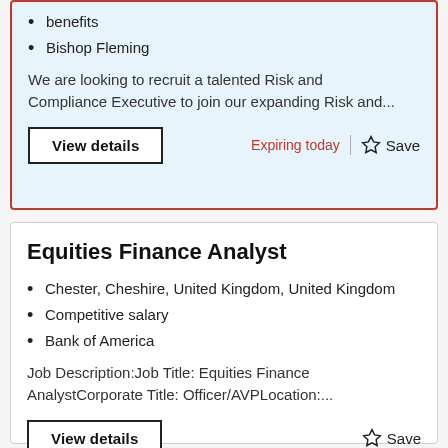benefits
Bishop Fleming
We are looking to recruit a talented Risk and Compliance Executive to join our expanding Risk and...
View details
Expiring today
Save
Equities Finance Analyst
Chester, Cheshire, United Kingdom, United Kingdom
Competitive salary
Bank of America
Job Description:Job Title: Equities Finance AnalystCorporate Title: Officer/AVPLocation:...
View details
Save